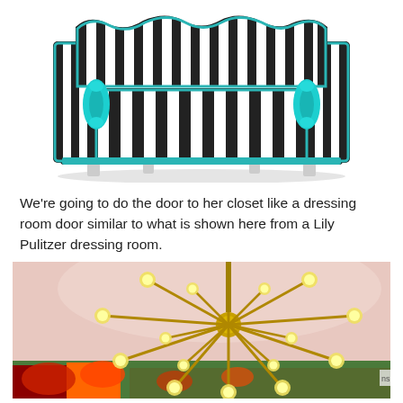[Figure (illustration): Illustrated/rendered image of a stylish sofa/daybed with bold black and white vertical stripes on the upholstery and teal/turquoise accent piping and two cylindrical bolster pillows, with clear acrylic legs]
We're going to do the door to her closet like a dressing room door similar to what is shown here from a Lily Pulitzer dressing room.
[Figure (photo): Photograph of a sputnik-style chandelier with gold arms and globe bulbs, hanging from a pink ceiling, with colorful decor visible in the background below]